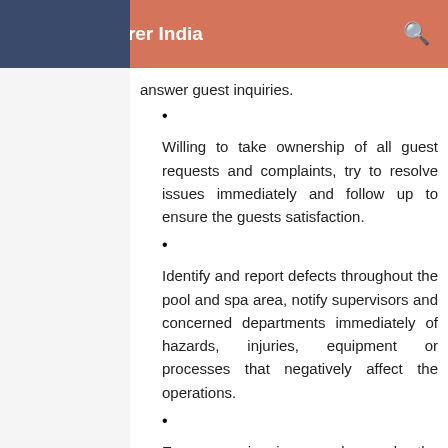Educaterer India
answer guest inquiries.
Willing to take ownership of all guest requests and complaints, try to resolve issues immediately and follow up to ensure the guests satisfaction.
Identify and report defects throughout the pool and spa area, notify supervisors and concerned departments immediately of hazards, injuries, equipment or processes that negatively affect the operations.
Ensure swimming pools and the complete health club area is clean at any times and report